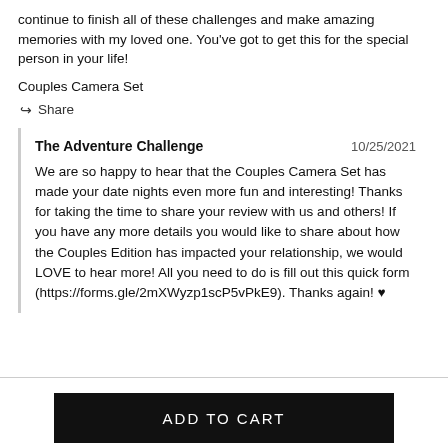continue to finish all of these challenges and make amazing memories with my loved one. You've got to get this for the special person in your life!
Couples Camera Set
Share
The Adventure Challenge  10/25/2021
We are so happy to hear that the Couples Camera Set has made your date nights even more fun and interesting! Thanks for taking the time to share your review with us and others! If you have any more details you would like to share about how the Couples Edition has impacted your relationship, we would LOVE to hear more! All you need to do is fill out this quick form (https://forms.gle/2mXWyzp1scP5vPkE9). Thanks again! ♥
ADD TO CART